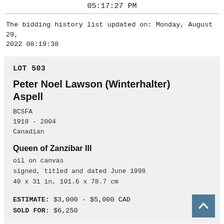05:17:27 PM
The bidding history list updated on: Monday, August 29, 2022 08:19:38
LOT 503
Peter Noel Lawson (Winterhalter) Aspell
BCSFA
1918 - 2004
Canadian
Queen of Zanzibar III
oil on canvas
signed, titled and dated June 1998
40 x 31 in, 101.6 x 78.7 cm
ESTIMATE: $3,000 - $5,000 CAD
SOLD FOR: $6,250